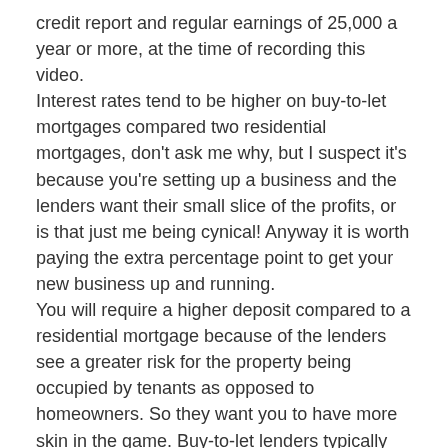credit report and regular earnings of 25,000 a year or more, at the time of recording this video.
Interest rates tend to be higher on buy-to-let mortgages compared two residential mortgages, don't ask me why, but I suspect it's because you're setting up a business and the lenders want their small slice of the profits, or is that just me being cynical! Anyway it is worth paying the extra percentage point to get your new business up and running.
You will require a higher deposit compared to a residential mortgage because of the lenders see a greater risk for the property being occupied by tenants as opposed to homeowners. So they want you to have more skin in the game. Buy-to-let lenders typically look for a 25% deposit of the purchase price.
Although some lenders have mortgage products that will only to buy a property with a smaller deposit, but you can